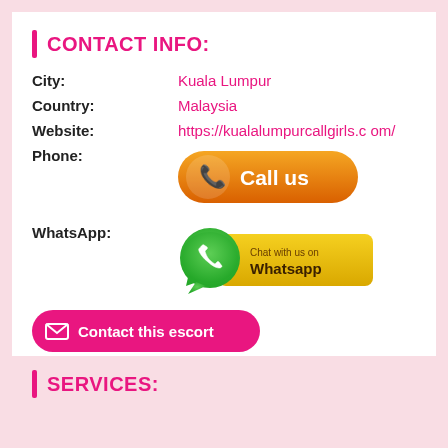CONTACT INFO:
City: Kuala Lumpur
Country: Malaysia
Website: https://kualalumpurcallgirls.com/
[Figure (other): Orange rounded button with phone icon and text 'Call us']
[Figure (other): WhatsApp button with green WhatsApp logo and yellow box saying 'Chat with us on Whatsapp']
[Figure (other): Pink rounded button with envelope icon and text 'Contact this escort']
SERVICES: